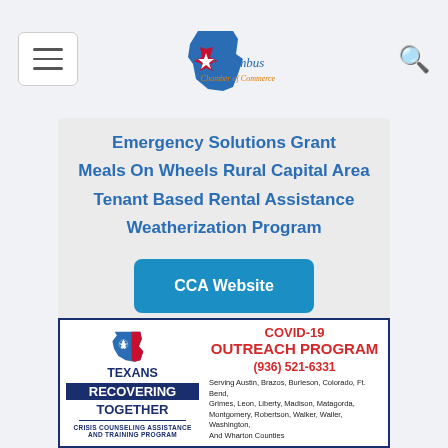[Figure (logo): Columbus Chamber of Commerce logo with Texas state imagery]
Emergency Solutions Grant
Meals On Wheels Rural Capital Area
Tenant Based Rental Assistance
Weatherization Program
CCA Website
[Figure (infographic): Texans Recovering Together Crisis Counseling Assistance and Training Program banner with COVID-19 Outreach Program information. Phone: (936) 521-6331. Serving Austin, Brazos, Burleson, Colorado, Ft. Bend, Grimes, Leon, Liberty, Madison, Matagorda, Montgomery, Robertson, Walker, Waller, Washington, And Wharton Counties]